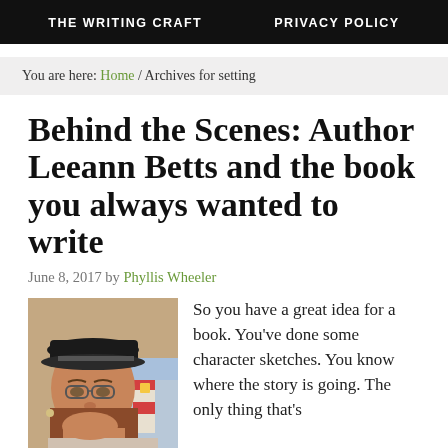THE WRITING CRAFT   PRIVACY POLICY
You are here: Home / Archives for setting
Behind the Scenes: Author Leeann Betts and the book you always wanted to write
June 8, 2017 by Phyllis Wheeler
[Figure (photo): Portrait photo of author Leeann Betts wearing a dark cap and glasses, smiling, with a colorful painted lighthouse mural visible in the background.]
So you have a great idea for a book. You've done some character sketches. You know where the story is going. The only thing that's